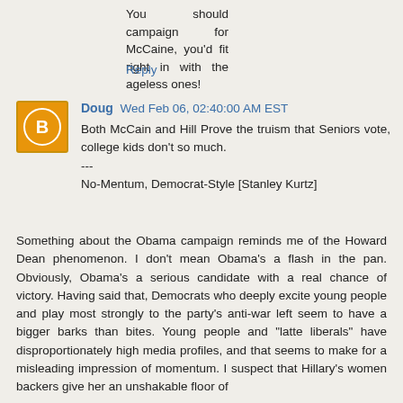You should campaign for McCaine, you'd fit right in with the ageless ones!
Reply
Doug  Wed Feb 06, 02:40:00 AM EST
Both McCain and Hill Prove the truism that Seniors vote, college kids don't so much.
---
No-Mentum, Democrat-Style [Stanley Kurtz]
Something about the Obama campaign reminds me of the Howard Dean phenomenon. I don't mean Obama's a flash in the pan. Obviously, Obama's a serious candidate with a real chance of victory. Having said that, Democrats who deeply excite young people and play most strongly to the party's anti-war left seem to have a bigger barks than bites. Young people and "latte liberals" have disproportionately high media profiles, and that seems to make for a misleading impression of momentum. I suspect that Hillary's women backers give her an unshakable floor of